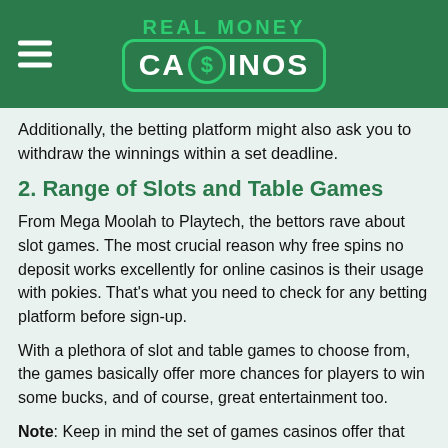[Figure (logo): Real Money Casinos logo with green background, hamburger menu icon on left, 'REAL MONEY' text above and 'CA$INOS' in white with green dollar sign circle in a green-bordered rounded rectangle]
Additionally, the betting platform might also ask you to withdraw the winnings within a set deadline.
2. Range of Slots and Table Games
From Mega Moolah to Playtech, the bettors rave about slot games. The most crucial reason why free spins no deposit works excellently for online casinos is their usage with pokies. That's what you need to check for any betting platform before sign-up.
With a plethora of slot and table games to choose from, the games basically offer more chances for players to win some bucks, and of course, great entertainment too.
Note: Keep in mind the set of games casinos offer that you can use your free spins on. The higher the variety, the higher are the chances of having good luck!